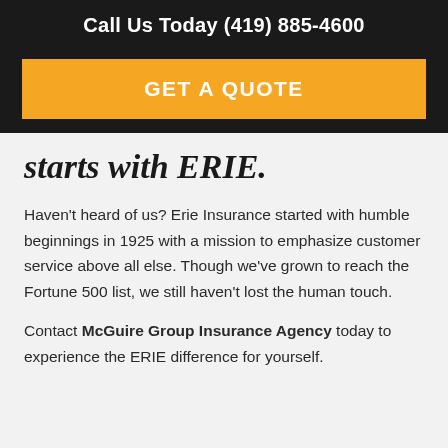Call Us Today (419) 885-4600
GET A QUOTE
starts with ERIE.
Haven't heard of us? Erie Insurance started with humble beginnings in 1925 with a mission to emphasize customer service above all else. Though we've grown to reach the Fortune 500 list, we still haven't lost the human touch.
Contact McGuire Group Insurance Agency today to experience the ERIE difference for yourself.